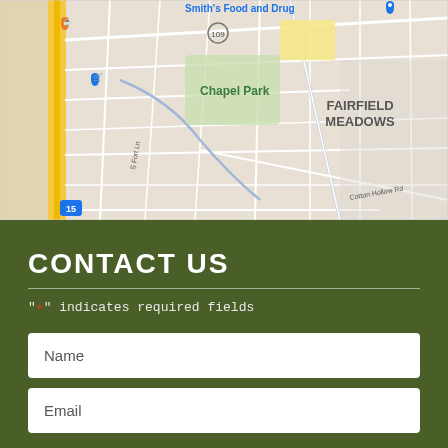[Figure (map): Google Maps street map showing Chapel Park neighborhood and Fairfield Meadows area, with Smith's Food and Drug labeled, road network, Chapel Park green area, and highway 15. Blue and orange map pins visible.]
CONTACT US
"*" indicates required fields
Name
Email